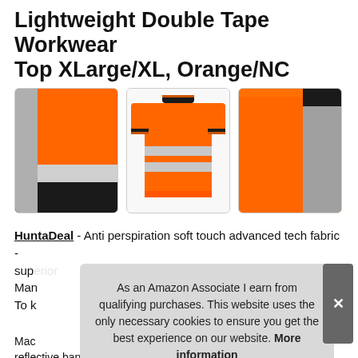Lightweight Double Tape Workwear Top XLarge/XL, Orange/NC
[Figure (photo): Three product photos of an orange high-visibility workwear polo shirt with reflective bands. Left: close-up of orange/grey/black fabric panels. Center: back view of full shirt. Right: close-up of orange front panel and grey sleeve.]
HuntaDeal - Anti perspiration soft touch advanced tech fabric - sup... Man... To k... Mac... reflective bands around the torso/Stomach & Arms are not
As an Amazon Associate I earn from qualifying purchases. This website uses the only necessary cookies to ensure you get the best experience on our website. More information